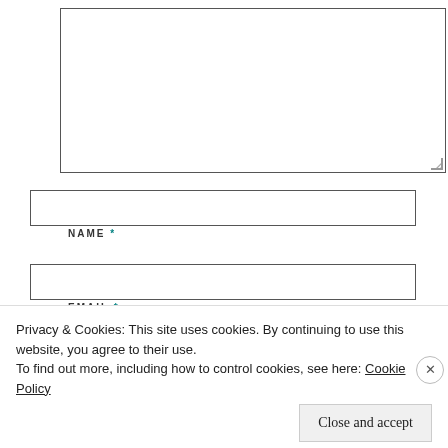[Figure (screenshot): Textarea (comment input box) at top of page, with resize handle at bottom right]
NAME *
[Figure (screenshot): Name text input field]
EMAIL *
[Figure (screenshot): Email text input field]
WEBSITE
[Figure (screenshot): Website text input field]
[Figure (screenshot): Post Comment button]
Privacy & Cookies: This site uses cookies. By continuing to use this website, you agree to their use.
To find out more, including how to control cookies, see here: Cookie Policy
Close and accept